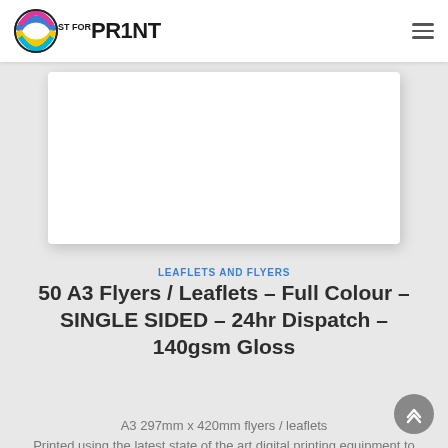[Figure (logo): 1st for Print logo with colorful globe icon and stylized text PR1NT]
[Figure (photo): White product image card placeholder against light gray background]
LEAFLETS AND FLYERS
50 A3 Flyers / Leaflets – Full Colour – SINGLE SIDED – 24hr Dispatch – 140gsm Gloss
A3 297mm x 420mm flyers / leaflets Printed using the latest state of the art digital printing equipment to produce a product of exceptional quality with sharp vivid colours